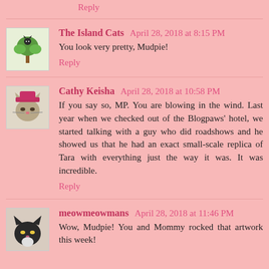Reply
The Island Cats  April 28, 2018 at 8:15 PM
You look very pretty, Mudpie!
Reply
Cathy Keisha  April 28, 2018 at 10:58 PM
If you say so, MP. You are blowing in the wind. Last year when we checked out of the Blogpaws' hotel, we started talking with a guy who did roadshows and he showed us that he had an exact small-scale replica of Tara with everything just the way it was. It was incredible.
Reply
meowmeowmans  April 28, 2018 at 11:46 PM
Wow, Mudpie! You and Mommy rocked that artwork this week!